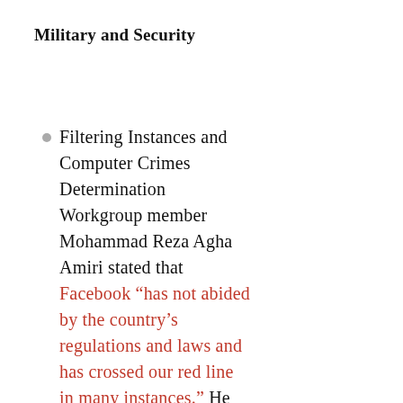Military and Security
Filtering Instances and Computer Crimes Determination Workgroup member Mohammad Reza Agha Amiri stated that Facebook “has not abided by the country’s regulations and laws and has crossed our red line in many instances.” He added that if Facebook